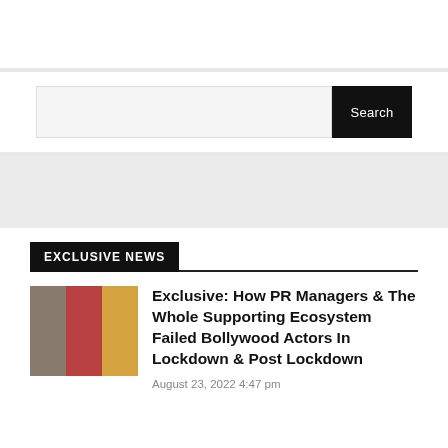[Figure (screenshot): Search bar with text input field and black Search button]
EXCLUSIVE NEWS
Exclusive: How PR Managers & The Whole Supporting Ecosystem Failed Bollywood Actors In Lockdown & Post Lockdown
August 23, 2022 4:47 pm